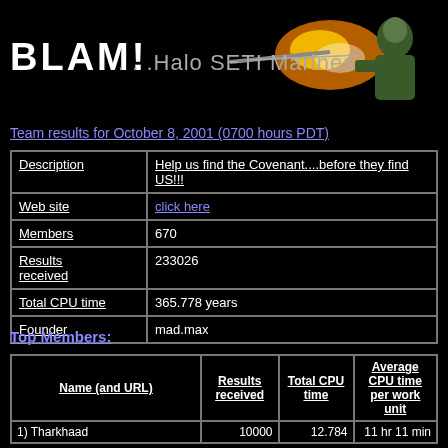[Figure (illustration): BLAM!...Halo SETI Marines banner with text and game character shooting graphic on black background]
Team results for October 8, 2001 (0700 hours PDT)
| Description | Help us find the Covenant....before they find US!!! |
| --- | --- |
| Web site | click here |
| Members | 670 |
| Results received | 233026 |
| Total CPU time | 365.778 years |
| Founder | mad.max |
Top Members:
| Name (and URL) | Results received | Total CPU time | Average CPU time per work unit |
| --- | --- | --- | --- |
| 1) Tharkhaad | 10000 | 12.784 | 11 hr 11 min |